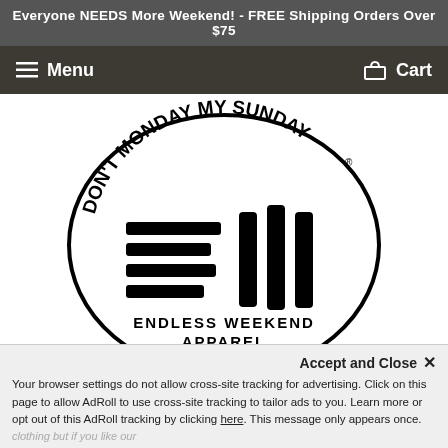Everyone NEEDS More Weekend! - FREE Shipping Orders Over $75
Menu   Cart
[Figure (logo): Endless Weekend Apparel logo inside an oval. Text arched at top: 'DON'T MONDAY MY SUNDAY®'. Center has stylized 'EW' logo mark with horizontal lines and vertical bars. Below: 'ENDLESS WEEKEND APPAREL' and 'LIVING HAPPY SINCE 2016'.]
Accept and Close ✕
Your browser settings do not allow cross-site tracking for advertising. Click on this page to allow AdRoll to use cross-site tracking to tailor ads to you. Learn more or opt out of this AdRoll tracking by clicking here. This message only appears once.